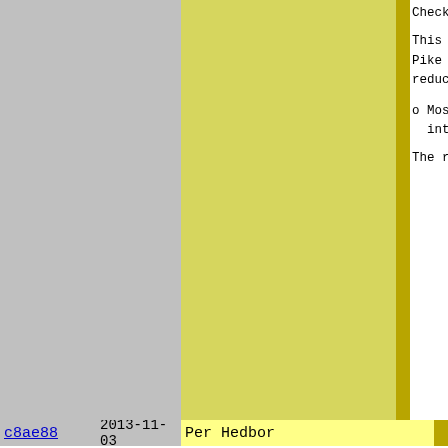Checks to

This can b
Pike data
reduced.

o Most math
integers a

The resul
c8ae88  2013-11-03  Per Hedbor
7e027d  2014-07-21  Per Hedbor
o The rando

On comput
return si
random_se

A side-ef
significa

Note: If
Crypto.Ra
returned
c8ae88  2013-11-03  Per Hedbor
b61e1b  2014-07-25  Henrik Grubbström (Grubba)
SSL